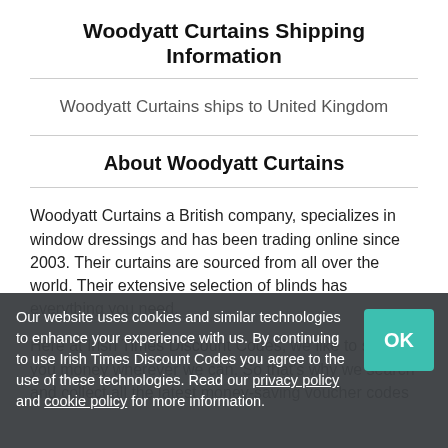Woodyatt Curtains Shipping Information
Woodyatt Curtains ships to United Kingdom
About Woodyatt Curtains
Woodyatt Curtains a British company, specializes in window dressings and has been trading online since 2003. Their curtains are sourced from all over the world. Their extensive selection of blinds has everything you need.
Here at Irish Times Discount Codes, we like to save you money wherever we can. So that's why we search and collect all the latest money-saving voucher codes
Our website uses cookies and similar technologies to enhance your experience with us. By continuing to use Irish Times Discount Codes you agree to the use of these technologies. Read our privacy policy and cookie policy for more information.